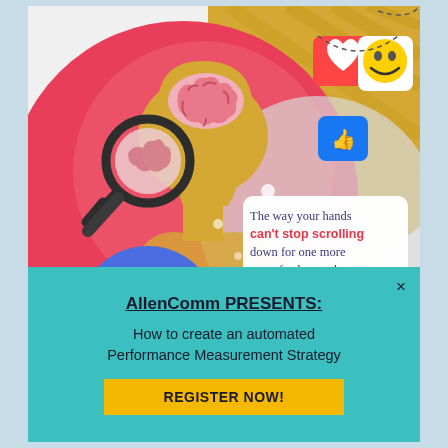[Figure (illustration): Illustration showing a golden human head silhouette with a brain visible inside, a magnifying glass overlaid, set against a red/pink circular background. Upper right has social media notification icons (heart, thumbs up, laughing emoji) on a golden striped background. Below right is a white speech bubble/card with text: 'The way your hands can't stop scrolling down for one more news feed post, the way you can't ignore a notification alert,' — where 'can't stop scrolling' is in bold red and 'you can't ignore' is highlighted in red/pink. A blue semicircle is visible at the bottom left.]
AllenComm PRESENTS:
How to create an automated Performance Measurement Strategy
REGISTER NOW!